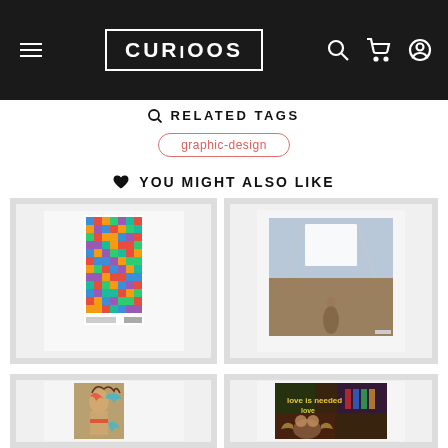CURIOOS navigation bar
RELATED TAGS
graphic-design
YOU MIGHT ALSO LIKE
[Figure (illustration): Colorful pixelated geometric pattern art print in white frame on grey background]
[Figure (photo): Outdoor landscape photograph with white fabric against sky in white frame on grey background]
[Figure (illustration): Fashion illustration of a woman with decorative elements in white frame on grey background]
[Figure (illustration): 'love is needed love' graffiti style painting with figures in white frame on grey background]